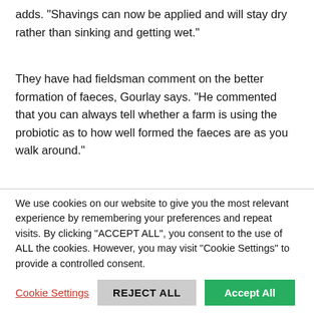adds. "Shavings can now be applied and will stay dry rather than sinking and getting wet."
They have had fieldsman comment on the better formation of faeces, Gourlay says. "He commented that you can always tell whether a farm is using the probiotic as to how well formed the faeces are as you walk around."
All farms have problem areas, but you can see that the litter has been lifted and problem areas, such as hock and podo issues,
We use cookies on our website to give you the most relevant experience by remembering your preferences and repeat visits. By clicking “ACCEPT ALL”, you consent to the use of ALL the cookies. However, you may visit "Cookie Settings" to provide a controlled consent.
Cookie Settings | REJECT ALL | Accept All